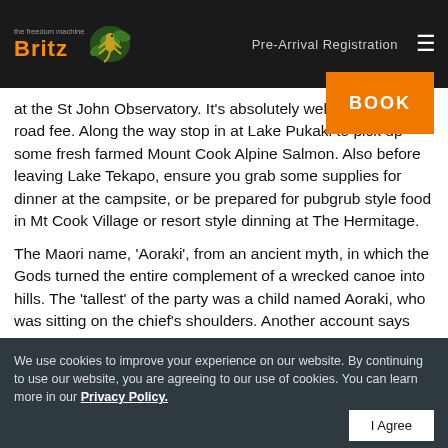Britz | Pre-Arrival Registration
at the St John Observatory. It's absolutely well worth the $8 road fee. Along the way stop in at Lake Pukaki to pick up some fresh farmed Mount Cook Alpine Salmon. Also before leaving Lake Tekapo, ensure you grab some supplies for dinner at the campsite, or be prepared for pubgrub style food in Mt Cook Village or resort style dinning at The Hermitage.
The Maori name, 'Aoraki', from an ancient myth, in which the Gods turned the entire complement of a wrecked canoe into hills. The 'tallest' of the party was a child named Aoraki, who was sitting on the chief's shoulders. Another account says that the mountain was named in honour of Aoraki, the firstborn son of the sky father. The area is also the heart of New Zealand mountaineering
We use cookies to improve your experience on our website. By continuing to use our website, you are agreeing to our use of cookies. You can learn more in our Privacy Policy.